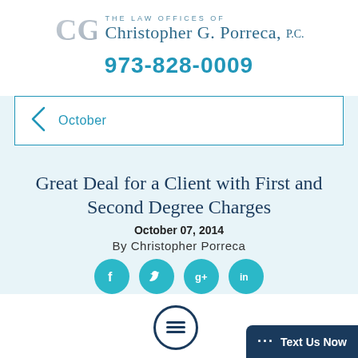[Figure (logo): CGP law firm logo with stylized letters and text 'THE LAW OFFICES OF Christopher G. Porreca, P.C.']
973-828-0009
October
Great Deal for a Client with First and Second Degree Charges
October 07, 2014
By Christopher Porreca
[Figure (illustration): Social media share icons (Facebook, Twitter, Google+, LinkedIn) as teal circles, plus a chat widget 'Text Us Now' in dark navy]
... Text Us Now